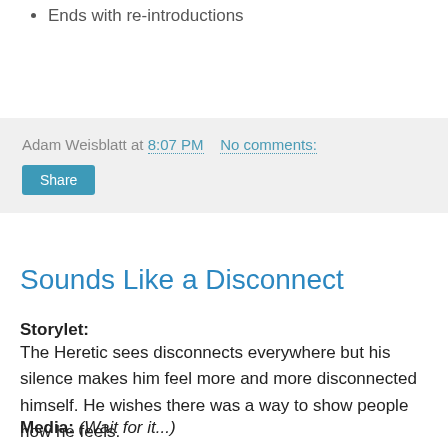Ends with re-introductions
Adam Weisblatt at 8:07 PM   No comments:
Share
Sounds Like a Disconnect
Storylet:
The Heretic sees disconnects everywhere but his silence makes him feel more and more disconnected himself. He wishes there was a way to show people how he feels.
Media: (Wait for it...)